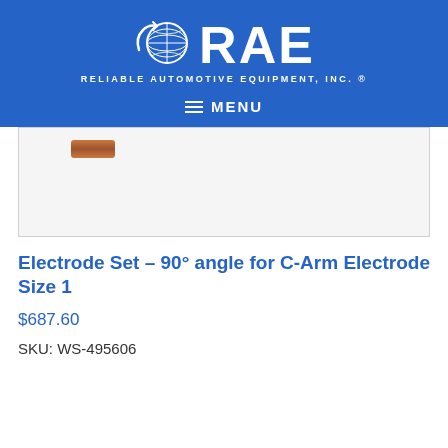RAE — Reliable Automotive Equipment, Inc. ® — MENU
[Figure (photo): Product image area showing a small copper-colored electrode piece against a light grey background]
Electrode Set – 90° angle for C-Arm Electrode Size 1
$687.60
SKU: WS-495606